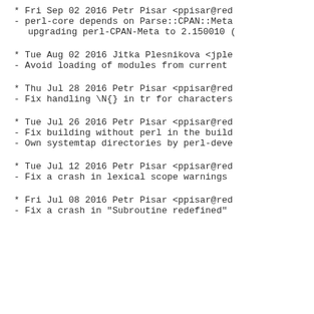* Fri Sep 02 2016 Petr Pisar <ppisar@red
- perl-core depends on Parse::CPAN::Meta
  upgrading perl-CPAN-Meta to 2.150010 (
* Tue Aug 02 2016 Jitka Plesnikova <jple
- Avoid loading of modules from current
* Thu Jul 28 2016 Petr Pisar <ppisar@red
- Fix handling \N{} in tr for characters
* Tue Jul 26 2016 Petr Pisar <ppisar@red
- Fix building without perl in the build
- Own systemtap directories by perl-deve
* Tue Jul 12 2016 Petr Pisar <ppisar@red
- Fix a crash in lexical scope warnings
* Fri Jul 08 2016 Petr Pisar <ppisar@red
- Fix a crash in "Subroutine redefined"